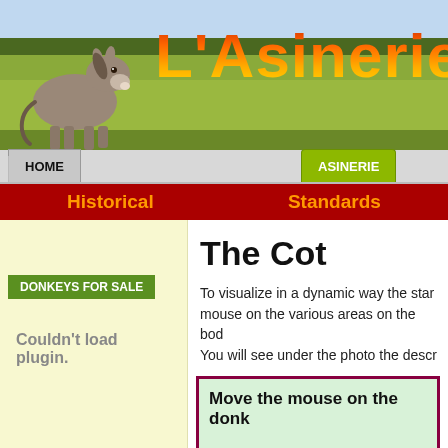[Figure (illustration): Website banner with a donkey photo on the left side and large orange/gradient text reading "L'Asinerie du" on a green field background]
HOME | ASINERIE
Historical | Standards
DONKEYS FOR SALE
The Cot
Couldn't load plugin.
To visualize in a dynamic way the star... mouse on the various areas on the bod... You will see under the photo the descr...
Move the mouse on the donk